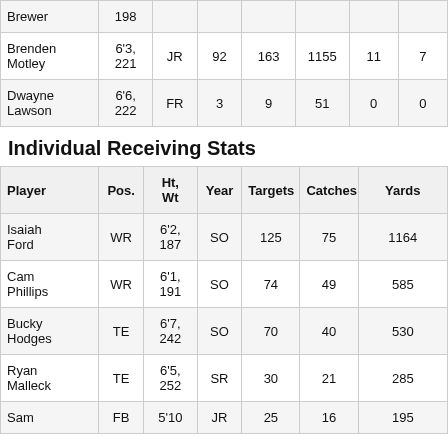| Player | Ht, Wt | Year | Targets | Catches | Yards |  |  |
| --- | --- | --- | --- | --- | --- | --- | --- |
| Brewer | 198 |  |  |  |  |  |  |
| Brenden Motley | 6'3, 221 | JR | 92 | 163 | 1155 | 11 | 7 |
| Dwayne Lawson | 6'6, 222 | FR | 3 | 9 | 51 | 0 | 0 |
Individual Receiving Stats
| Player | Pos. | Ht, Wt | Year | Targets | Catches | Yards |
| --- | --- | --- | --- | --- | --- | --- |
| Isaiah Ford | WR | 6'2, 187 | SO | 125 | 75 | 1164 |
| Cam Phillips | WR | 6'1, 191 | SO | 74 | 49 | 585 |
| Bucky Hodges | TE | 6'7, 242 | SO | 70 | 40 | 530 |
| Ryan Malleck | TE | 6'5, 252 | SR | 30 | 21 | 285 |
| Sam | FB | 5'10 | JR | 25 | 16 | 195 |